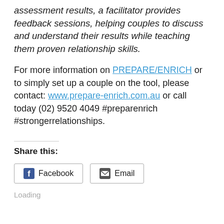assessment results, a facilitator provides feedback sessions, helping couples to discuss and understand their results while teaching them proven relationship skills.
For more information on PREPARE/ENRICH or to simply set up a couple on the tool, please contact: www.prepare-enrich.com.au or call today (02) 9520 4049 #preparenrich #strongerrelationships.
Share this:
[Figure (other): Share buttons for Facebook and Email]
Loading